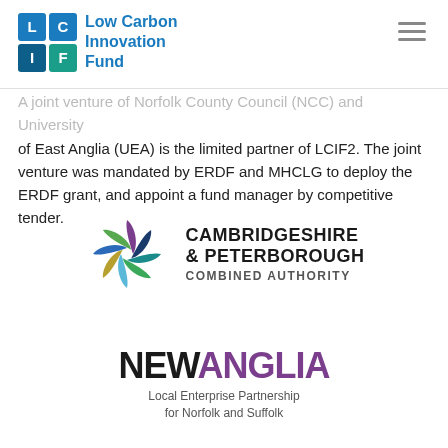[Figure (logo): Low Carbon Innovation Fund (LCIF) logo with blue and teal grid squares and text]
A joint venture of Norfolk County Council (NCC) and University of East Anglia (UEA) is the limited partner of LCIF2. The joint venture was mandated by ERDF and MHCLG to deploy the ERDF grant, and appoint a fund manager by competitive tender.
[Figure (logo): Cambridgeshire & Peterborough Combined Authority logo with swirl graphic]
[Figure (logo): New Anglia Local Enterprise Partnership for Norfolk and Suffolk logo]